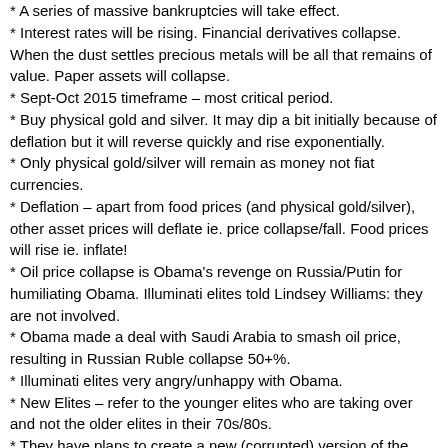* A series of massive bankruptcies will take effect.
* Interest rates will be rising. Financial derivatives collapse. When the dust settles precious metals will be all that remains of value. Paper assets will collapse.
* Sept-Oct 2015 timeframe – most critical period.
* Buy physical gold and silver. It may dip a bit initially because of deflation but it will reverse quickly and rise exponentially.
* Only physical gold/silver will remain as money not fiat currencies.
* Deflation – apart from food prices (and physical gold/silver), other asset prices will deflate ie. price collapse/fall. Food prices will rise ie. inflate!
* Oil price collapse is Obama's revenge on Russia/Putin for humiliating Obama. Illuminati elites told Lindsey Williams: they are not involved.
* Obama made a deal with Saudi Arabia to smash oil price, resulting in Russian Ruble collapse 50+%.
* Illuminati elites very angry/unhappy with Obama.
* New Elites – refer to the younger elites who are taking over and not the older elites in their 70s/80s.
* They have plans to create a new (corrupted) version of the Bible.